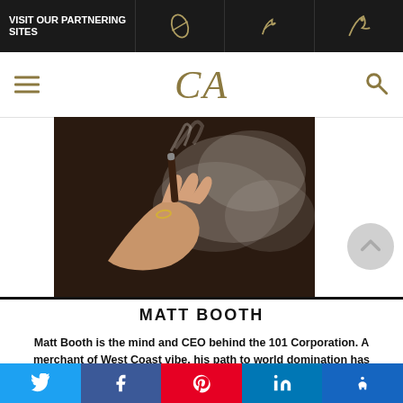VISIT OUR PARTNERING SITES
CA
[Figure (photo): Person holding a cigar with smoke, close-up shot against dark background]
MATT BOOTH
Matt Booth is the mind and CEO behind the 101 Corporation. A merchant of West Coast vibe, his path to world domination has included the creation of the Room 101 line of custom jewelry and, through a partnership with the Camacho family of cigars, the
Twitter Facebook Pinterest LinkedIn Accessibility